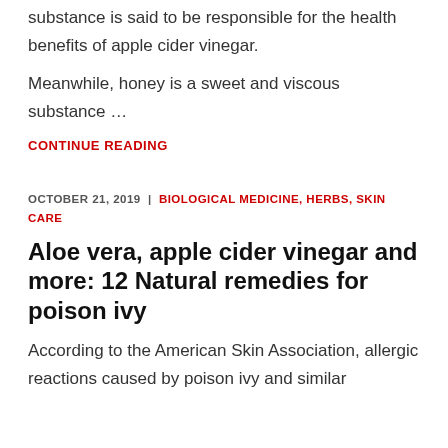substance is said to be responsible for the health benefits of apple cider vinegar.
Meanwhile, honey is a sweet and viscous substance …
CONTINUE READING
OCTOBER 21, 2019 | BIOLOGICAL MEDICINE, HERBS, SKIN CARE
Aloe vera, apple cider vinegar and more: 12 Natural remedies for poison ivy
According to the American Skin Association, allergic reactions caused by poison ivy and similar